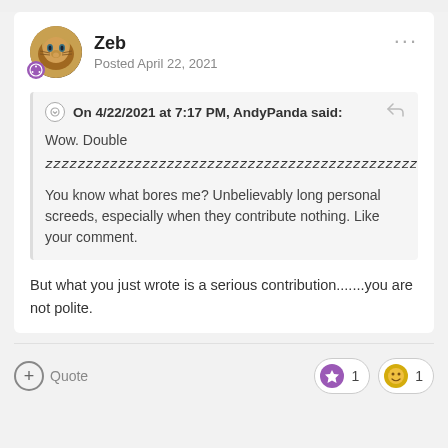Zeb
Posted April 22, 2021
On 4/22/2021 at 7:17 PM, AndyPanda said:
Wow. Double
zzzzzzzzzzzzzzzzzzzzzzzzzzzzzzzzzzzzzzzzzzzzzz

You know what bores me? Unbelievably long personal screeds, especially when they contribute nothing. Like your comment.
But what you just wrote is a serious contribution.......you are not polite.